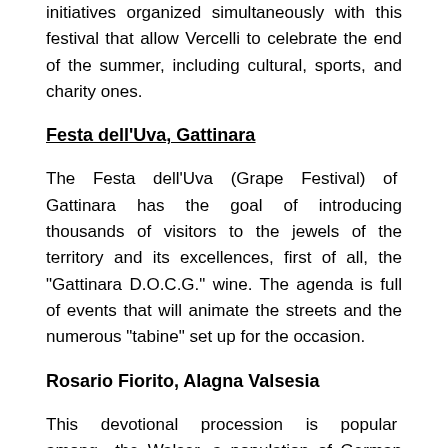initiatives organized simultaneously with this festival that allow Vercelli to celebrate the end of the summer, including cultural, sports, and charity ones.
Festa dell'Uva, Gattinara
The Festa dell'Uva (Grape Festival) of Gattinara has the goal of introducing thousands of visitors to the jewels of the territory and its excellences, first of all, the "Gattinara D.O.C.G." wine. The agenda is full of events that will animate the streets and the numerous "tabine" set up for the occasion.
Rosario Fiorito, Alagna Valsesia
This devotional procession is popular among the Walser, a population of German origin who settled at the foot of Monte Rosa centuries ago and left evidence of its traditions both at the religious level and at the historical-artistic and artisan ones. This procession takes place at Alpe Vigne, above Alagna, on the first Sunday of October. It